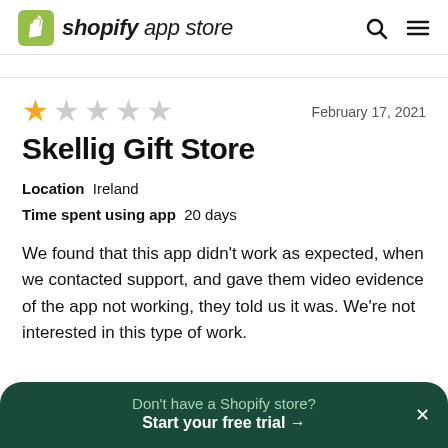shopify app store
[Figure (other): Star rating showing 1 out of 5 stars — one filled gold star and four empty grey stars]
February 17, 2021
Skellig Gift Store
Location  Ireland
Time spent using app  20 days
We found that this app didn't work as expected, when we contacted support, and gave them video evidence of the app not working, they told us it was. We're not interested in this type of work.
Don't have a Shopify store? Start your free trial →